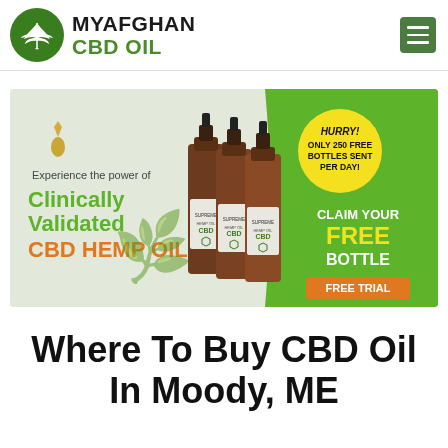[Figure (logo): MyAfghan CBD Oil logo: green circle with cannabis leaf icon, text 'MYAFGHAN' in black bold and 'CBD OIL' in green bold]
[Figure (infographic): CBD hemp oil promotional banner: left side light gray/green background with text 'Experience the power of Clinically Validated CBD HEMP OIL', three brown dropper bottles of CBD hemp oil in center, yellow circle badge 'HURRY! ONLY 250 FREE BOTTLES SENT PER DAY!', right green section 'CLAIM YOUR FREE BOTTLE' with orange 'FREE TRIAL' button]
Where To Buy CBD Oil In Moody, ME